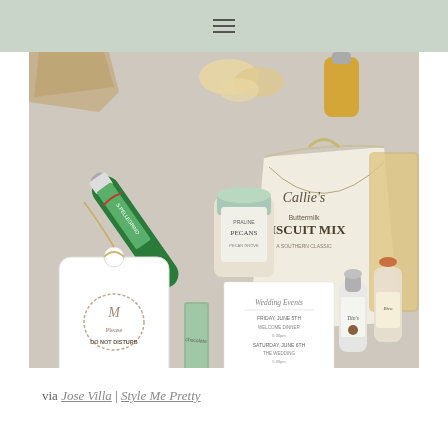☰
[Figure (photo): Flat lay photo of wedding welcome bag contents including a S.Pellegrino bottle, Callie's Buttermilk Biscuit Mix canvas bag, a jar of Praline Pecans, mini Tito's vodka bottles, a hotel Do Not Disturb tag with floral wreath monogram, a wedding events card, a chocolate bar, and snack bags on a grey surface.]
via Jose Villa | Style Me Pretty